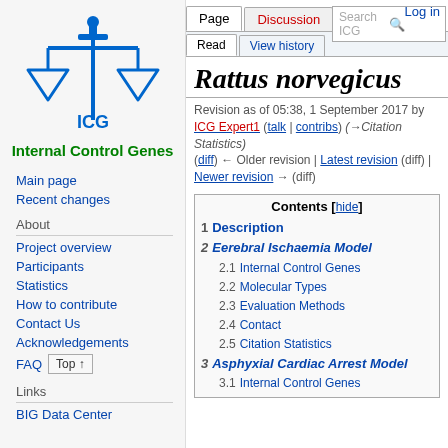Log in
[Figure (logo): ICG Internal Control Genes balance scale logo in blue with green text]
Main page
Recent changes
About
Project overview
Participants
Statistics
How to contribute
Contact Us
Acknowledgements
FAQ
Links
BIG Data Center
Rattus norvegicus
Revision as of 05:38, 1 September 2017 by ICG Expert1 (talk | contribs) (→Citation Statistics)
(diff) ← Older revision | Latest revision (diff) | Newer revision → (diff)
Contents [hide]
1 Description
2 Eerebral Ischaemia Model
2.1 Internal Control Genes
2.2 Molecular Types
2.3 Evaluation Methods
2.4 Contact
2.5 Citation Statistics
3 Asphyxial Cardiac Arrest Model
3.1 Internal Control Genes